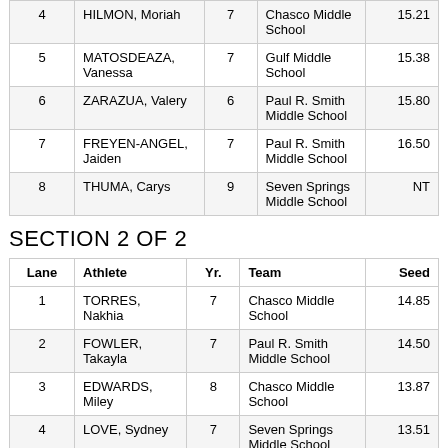| Lane | Athlete | Yr. | Team | Seed |
| --- | --- | --- | --- | --- |
| 4 | HILMON, Moriah | 7 | Chasco Middle School | 15.21 |
| 5 | MATOSDEAZA, Vanessa | 7 | Gulf Middle School | 15.38 |
| 6 | ZARAZUA, Valery | 6 | Paul R. Smith Middle School | 15.80 |
| 7 | FREYEN-ANGEL, Jaiden | 7 | Paul R. Smith Middle School | 16.50 |
| 8 | THUMA, Carys | 9 | Seven Springs Middle School | NT |
SECTION 2 OF 2
| Lane | Athlete | Yr. | Team | Seed |
| --- | --- | --- | --- | --- |
| 1 | TORRES, Nakhia | 7 | Chasco Middle School | 14.85 |
| 2 | FOWLER, Takayla | 7 | Paul R. Smith Middle School | 14.50 |
| 3 | EDWARDS, Miley | 8 | Chasco Middle School | 13.87 |
| 4 | LOVE, Sydney | 7 | Seven Springs Middle School | 13.51 |
| 5 | MARTINEZ, Jaylisse | 6 | Gulf Middle School | 13.67 |